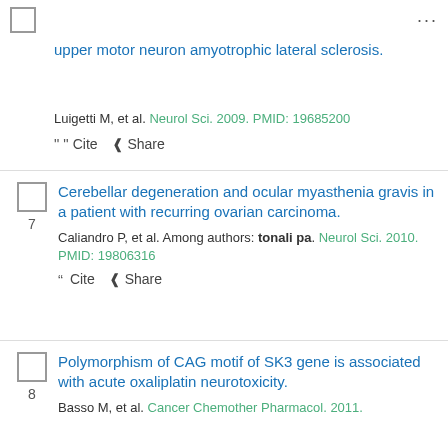upper motor neuron amyotrophic lateral sclerosis.
Luigetti M, et al. Neurol Sci. 2009. PMID: 19685200
Cite  Share
7
Cerebellar degeneration and ocular myasthenia gravis in a patient with recurring ovarian carcinoma.
Caliandro P, et al. Among authors: tonali pa. Neurol Sci. 2010. PMID: 19806316
Cite  Share
8
Polymorphism of CAG motif of SK3 gene is associated with acute oxaliplatin neurotoxicity.
Basso M, et al. Cancer Chemother Pharmacol. 2011.